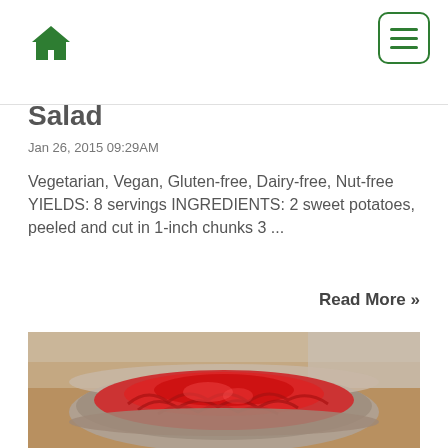Navigation header with home icon and menu button
Salad
Jan 26, 2015 09:29AM
Vegetarian, Vegan, Gluten-free, Dairy-free, Nut-free YIELDS: 8 servings INGREDIENTS: 2 sweet potatoes, peeled and cut in 1-inch chunks 3 ...
Read More »
[Figure (photo): A bowl containing red pickled vegetables (likely pickled red onions or red cabbage) served in a round ceramic bowl on a wooden surface.]